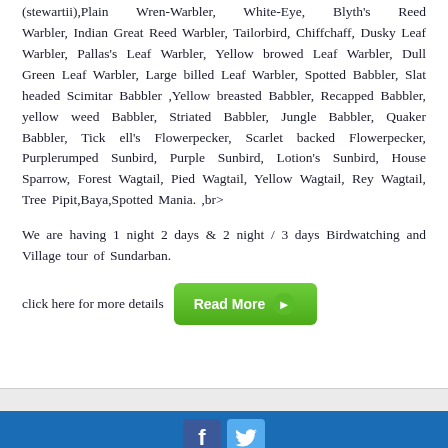(stewartii),Plain Wren-Warbler, White-Eye, Blyth's Reed Warbler, Indian Great Reed Warbler, Tailorbird, Chiffchaff, Dusky Leaf Warbler, Pallas's Leaf Warbler, Yellow browed Leaf Warbler, Dull Green Leaf Warbler, Large billed Leaf Warbler, Spotted Babbler, Slat headed Scimitar Babbler ,Yellow breasted Babbler, Recapped Babbler, yellow weed Babbler, Striated Babbler, Jungle Babbler, Quaker Babbler, Tick ell's Flowerpecker, Scarlet backed Flowerpecker, Purplerumped Sunbird, Purple Sunbird, Lotion's Sunbird, House Sparrow, Forest Wagtail, Pied Wagtail, Yellow Wagtail, Rey Wagtail, Tree Pipit,Baya,Spotted Mania. ,br>
We are having 1 night 2 days & 2 night / 3 days Birdwatching and Village tour of Sundarban.
click here for more details
[Figure (other): Green 'Read More' button with right-pointing arrow circle]
Blue footer bar with Facebook and Twitter social media icons